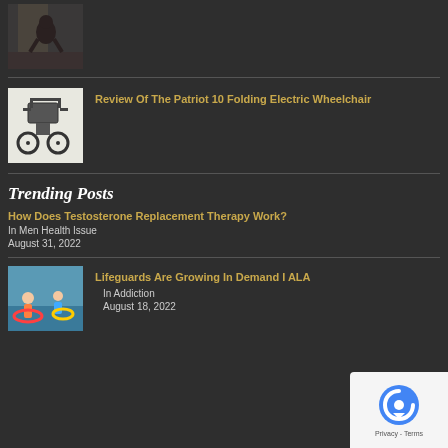[Figure (photo): Person sitting hunched on floor, distressed pose]
[Figure (photo): Folding electric wheelchair product image]
Review Of The Patriot 10 Folding Electric Wheelchair
Trending Posts
How Does Testosterone Replacement Therapy Work?
In Men Health Issue
August 31, 2022
[Figure (photo): Children playing in water with inflatable toys, lifeguard scene]
Lifeguards Are Growing In Demand I ALA
In Addiction
August 18, 2022